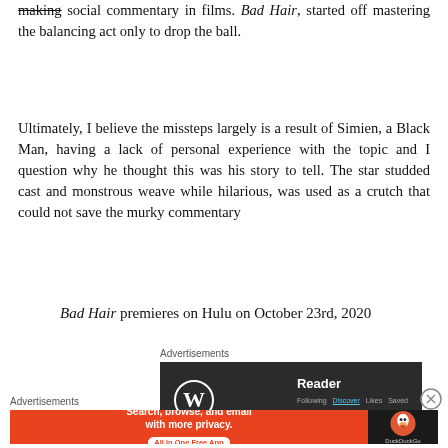making social commentary in films. Bad Hair, started off mastering the balancing act only to drop the ball.
Ultimately, I believe the missteps largely is a result of Simien, a Black Man, having a lack of personal experience with the topic and I question why he thought this was his story to tell. The star studded cast and monstrous weave while hilarious, was used as a crutch that could not save the murky commentary
Bad Hair premieres on Hulu on October 23rd, 2020
Advertisements
[Figure (screenshot): WordPress Reader app advertisement showing WordPress logo and Reader interface on dark background]
Advertisements
[Figure (screenshot): DuckDuckGo advertisement on orange background: Search, browse, and email with more privacy. All in One Free App]